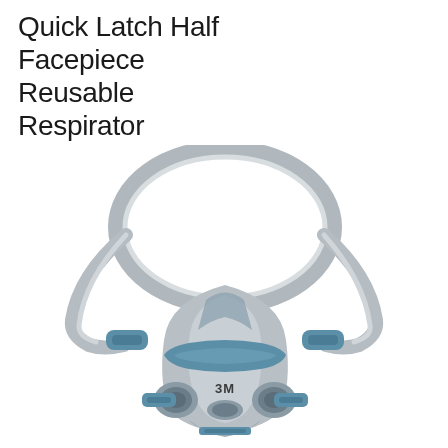Quick Latch Half Facepiece Reusable Respirator
[Figure (photo): 3M Quick Latch Half Facepiece Reusable Respirator shown from front view. The respirator is gray with teal/blue accent details, featuring a bayonet-style filter attachment on each side, a large head cradle/harness in gray, and the 3M logo on the front exhalation valve area. The headband forms a large loop at the top.]